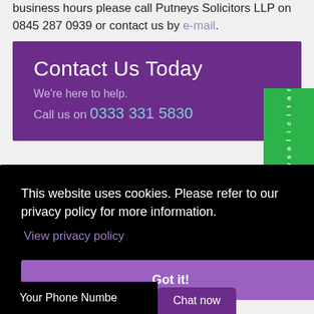business hours please call Putneys Solicitors LLP on 0845 287 0939 or contact us by e-mail.
Contact Us Today
We're here to help.
Call us on 0333 331 5830
This website uses cookies. Please refer to our privacy policy for more information.
View privacy policy
Got it!
Chat now
Your Phone Numbe